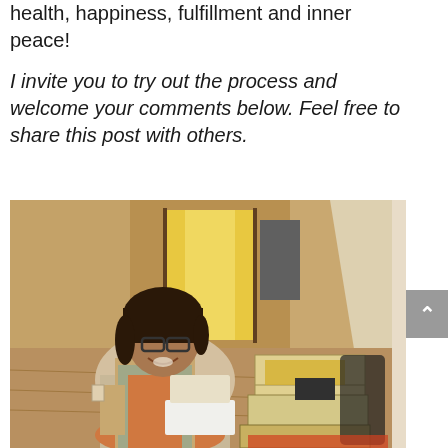health, happiness, fulfillment and inner peace!
I invite you to try out the process and welcome your comments below. Feel free to share this post with others.
[Figure (photo): A smiling woman with dark hair and glasses sitting in a beige chair in a home hallway, surrounded by cardboard boxes and papers. The hallway has warm tan/beige walls with a yellow-lit door visible in the background.]